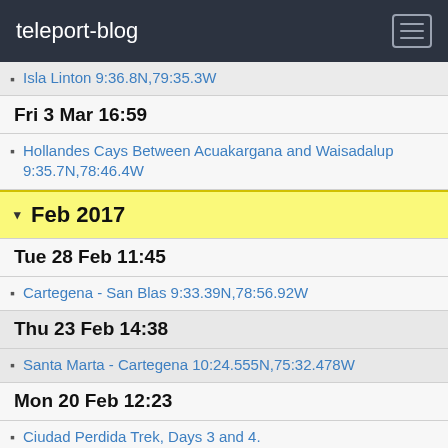teleport-blog
Isla Linton 9:36.8N,79:35.3W
Fri 3 Mar 16:59
Hollandes Cays Between Acuakargana and Waisadalup 9:35.7N,78:46.4W
Feb 2017
Tue 28 Feb 11:45
Cartegena - San Blas 9:33.39N,78:56.92W
Thu 23 Feb 14:38
Santa Marta - Cartegena 10:24.555N,75:32.478W
Mon 20 Feb 12:23
Ciudad Perdida Trek, Days 3 and 4.
Sun 19 Feb 03:20
Ciudad Perdida Trek, Days 1 and 2: 11:02.17N, 73:55.31W
Wed 15 Feb 00:55
Santa Marta